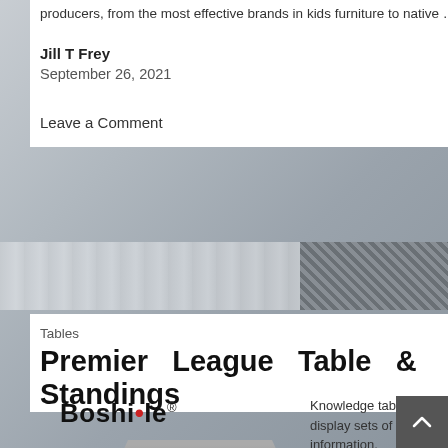producers, from the most effective brands in kids furniture to native … Read the rest
Jill T Frey
September 26, 2021
Leave a Comment
[Figure (photo): Decorative furniture room background photo with geometric patterned fabric on the right side]
Tables
Premier League Table & Standings
[Figure (logo): Boshile logo with red dot over the i and registered trademark symbol]
Knowledge tables display sets of information.